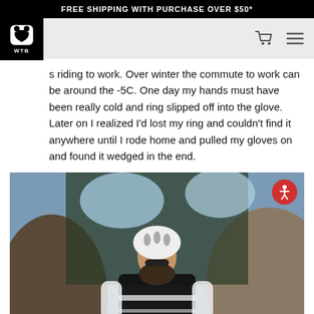FREE SHIPPING WITH PURCHASE OVER $50*
s riding to work. Over winter the commute to work can be around the -5C. One day my hands must have been really cold and ring slipped off into the glove. Later on I realized I'd lost my ring and couldn't find it anywhere until I rode home and pulled my gloves on and found it wedged in the end.
[Figure (photo): A bearded male cyclist wearing a white helmet with large ventilation holes, sunglasses, and a black and white cycling jersey. He is riding a mountain bike through a rocky canyon trail. The background shows trees and a bright sky.]